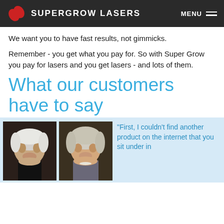SUPERGROW LASERS
We want you to have fast results, not gimmicks.
Remember - you get what you pay for. So with Super Grow you pay for lasers and you get lasers - and lots of them.
What our customers have to say
[Figure (photo): Two side-by-side before/after photos of a woman with white/blonde hair, alongside a customer testimonial quote starting: "First, I couldn't find another product on the internet that you sit under in..."]
"First, I couldn't find another product on the internet that you sit under in